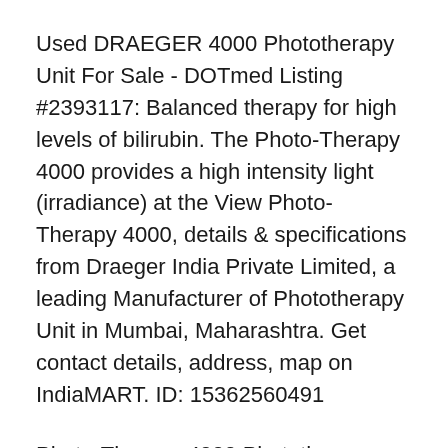Used DRAEGER 4000 Phototherapy Unit For Sale - DOTmed Listing #2393117: Balanced therapy for high levels of bilirubin. The Photo-Therapy 4000 provides a high intensity light (irradiance) at the View Photo-Therapy 4000, details & specifications from Draeger India Private Limited, a leading Manufacturer of Phototherapy Unit in Mumbai, Maharashtra. Get contact details, address, map on IndiaMART. ID: 15362560491
Photo-Therapy 4000 Phototherapy Systems Bilirubintherapy in a new light. With its high reliability and low running costs, the Photo-Therapy 4000 is recommended as a highly effective piece of pediatric equipment for use in